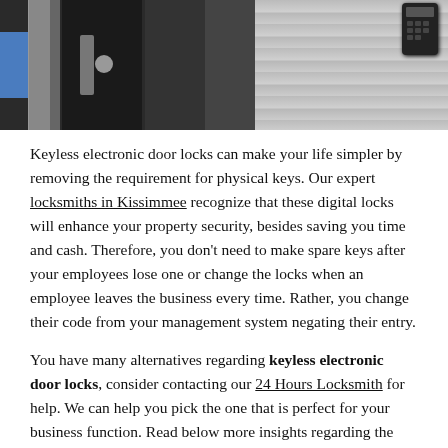[Figure (photo): Two photos side by side: left shows a close-up of a black door with metal hardware/lock mechanism and a blue stripe on the wall; right shows a keypad/electronic lock device mounted on a rough stone or concrete wall.]
Keyless electronic door locks can make your life simpler by removing the requirement for physical keys. Our expert locksmiths in Kissimmee recognize that these digital locks will enhance your property security, besides saving you time and cash. Therefore, you don't need to make spare keys after your employees lose one or change the locks when an employee leaves the business every time. Rather, you change their code from your management system negating their entry.
You have many alternatives regarding keyless electronic door locks, consider contacting our 24 Hours Locksmith for help. We can help you pick the one that is perfect for your business function. Read below more insights regarding the unique kinds of keyless door locks and